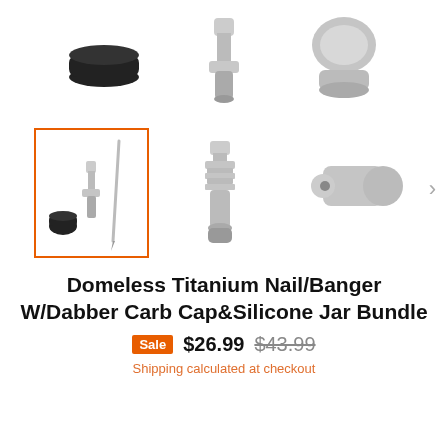[Figure (photo): Top row of product thumbnails: black silicone jar cap, titanium nail connector, and dome cap on white background]
[Figure (photo): Bottom row of product thumbnails: selected thumbnail showing full bundle (black cap, titanium nail, dabber), middle thumbnail showing titanium banger nail, right thumbnail showing titanium carb cap. Navigation arrow on right.]
Domeless Titanium Nail/Banger W/Dabber Carb Cap&Silicone Jar Bundle
Sale $26.99 $43.99
Shipping calculated at checkout